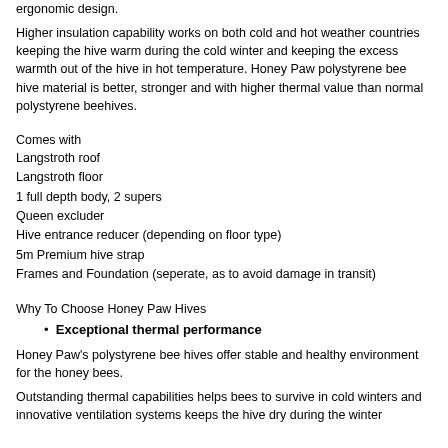ergonomic design.
Higher insulation capability works on both cold and hot weather countries keeping the hive warm during the cold winter and keeping the excess warmth out of the hive in hot temperature. Honey Paw polystyrene bee hive material is better, stronger and with higher thermal value than normal polystyrene beehives.
Comes with
Langstroth roof
Langstroth floor
1 full depth body, 2 supers
Queen excluder
Hive entrance reducer (depending on floor type)
5m Premium hive strap
Frames and Foundation (seperate, as to avoid damage in transit)
Why To Choose Honey Paw Hives
Exceptional thermal performance
Honey Paw's polystyrene bee hives offer stable and healthy environment for the honey bees.
Outstanding thermal capabilities helps bees to survive in cold winters and innovative ventilation systems keeps the hive dry during the winter